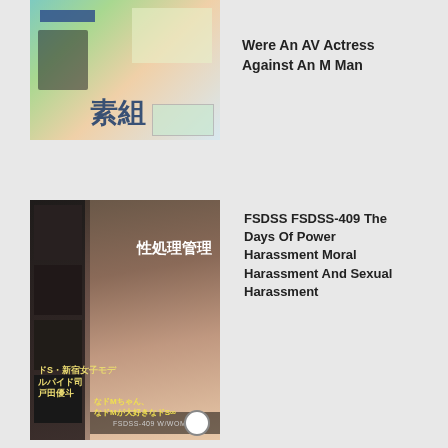[Figure (photo): DVD/video product cover image with colorful Japanese packaging collage]
Were An AV Actress Against An M Man
[Figure (photo): DVD/video product cover FSDSS-409 featuring a woman in office attire with Japanese text]
FSDSS FSDSS-409 The Days Of Power Harassment Moral Harassment And Sexual Harassment